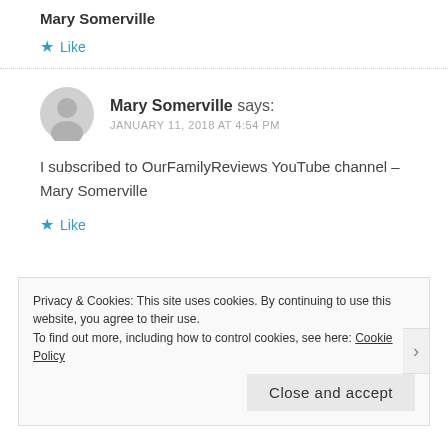Mary Somerville
★ Like
Mary Somerville says:
JANUARY 11, 2018 AT 4:54 PM
I subscribed to OurFamilyReviews YouTube channel – Mary Somerville
★ Like
Privacy & Cookies: This site uses cookies. By continuing to use this website, you agree to their use.
To find out more, including how to control cookies, see here: Cookie Policy
Close and accept